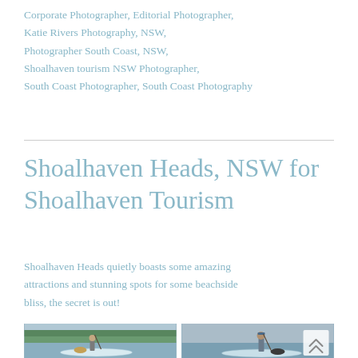Corporate Photographer, Editorial Photographer, Katie Rivers Photography, NSW, Photographer South Coast, NSW, Shoalhaven tourism NSW Photographer, South Coast Photographer, South Coast Photography
Shoalhaven Heads, NSW for Shoalhaven Tourism
Shoalhaven Heads quietly boasts some amazing attractions and stunning spots for some beachside bliss, the secret is out!
[Figure (photo): Person on a paddleboard on a calm river/lake with a dog, holding a paddle, green trees in background]
[Figure (photo): Man standing on a paddleboard on a calm lake with a dog, holding a paddle, overcast sky]